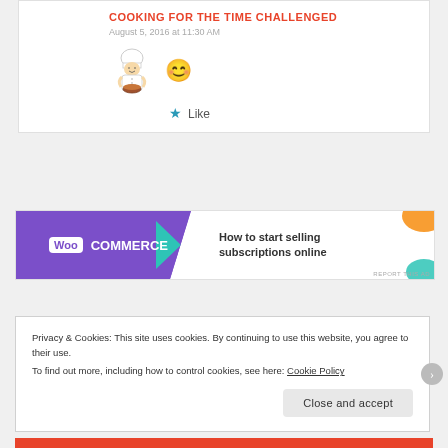COOKING FOR THE TIME CHALLENGED
August 5, 2016 at 11:30 AM
[Figure (illustration): Chef illustration (cartoon chef holding a bowl) and a smiley face emoji]
★ Like
[Figure (other): WooCommerce advertisement banner: WooCommerce logo with text 'How to start selling subscriptions online']
REPORT THIS AD
Privacy & Cookies: This site uses cookies. By continuing to use this website, you agree to their use. To find out more, including how to control cookies, see here: Cookie Policy
Close and accept